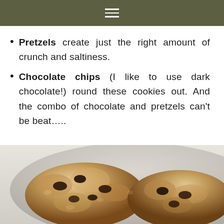Pretzels create just the right amount of crunch and saltiness.
Chocolate chips (I like to use dark chocolate!) round these cookies out. And the combo of chocolate and pretzels can’t be beat…..
[Figure (photo): Close-up photo of chocolate chip cookies on a grey ceramic plate, showing golden-brown crumbly texture with visible dark chocolate chunks, shot from above on a light marble surface.]